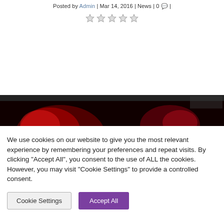Posted by Admin | Mar 14, 2016 | News | 0 💬 |
[Figure (other): Five empty star rating icons]
[Figure (photo): Dark image with red elements, appears to be a news article banner photo]
We use cookies on our website to give you the most relevant experience by remembering your preferences and repeat visits. By clicking "Accept All", you consent to the use of ALL the cookies. However, you may visit "Cookie Settings" to provide a controlled consent.
Cookie Settings | Accept All